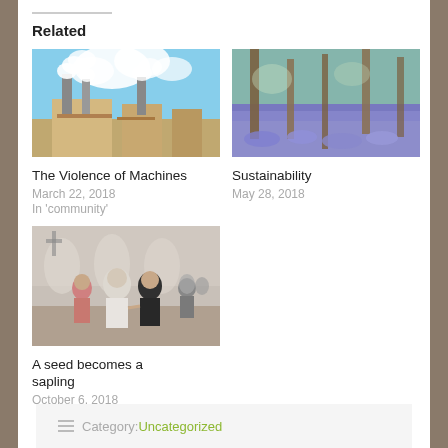Related
[Figure (photo): Industrial factory with smokestacks emitting white smoke against a blue sky]
The Violence of Machines
March 22, 2018
In 'community'
[Figure (photo): Forest floor covered with purple bluebells among birch trees]
Sustainability
May 28, 2018
[Figure (photo): Group of people holding hands outdoors in front of a building]
A seed becomes a sapling
October 6, 2018
Category: Uncategorized